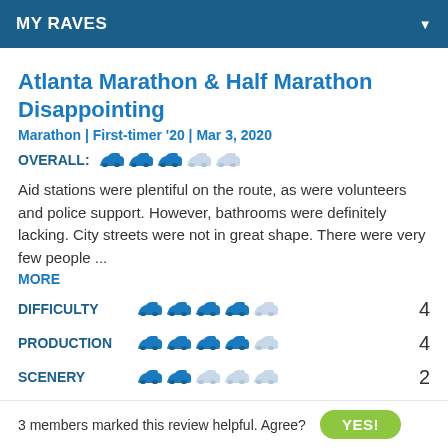MY RAVES
Atlanta Marathon & Half Marathon Disappointing
Marathon | First-timer '20 | Mar 3, 2020
OVERALL: 3 out of 5 shoes
Aid stations were plentiful on the route, as were volunteers and police support. However, bathrooms were definitely lacking. City streets were not in great shape. There were very few people ...
MORE
| Category | Rating | Score |
| --- | --- | --- |
| DIFFICULTY | 4 shoes filled, 1 empty | 4 |
| PRODUCTION | 4 shoes filled, 1 empty | 4 |
| SCENERY | 2 shoes filled, 3 empty | 2 |
| SWAG | 3 shoes filled, 2 empty | 3 |
3 members marked this review helpful. Agree?